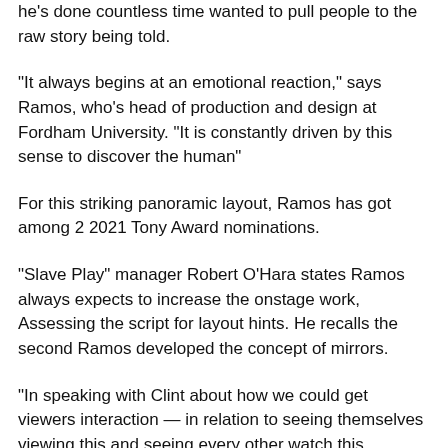he's done countless time wanted to pull people to the raw story being told.
“It always begins at an emotional reaction,” says Ramos, who’s head of production and design at Fordham University. “It is constantly driven by this sense to discover the human”
For this striking panoramic layout, Ramos has got among 2 2021 Tony Award nominations.
“Slave Play” manager Robert O’Hara states Ramos always expects to increase the onstage work, Assessing the script for layout hints. He recalls the second Ramos developed the concept of mirrors.
“In speaking with Clint about how we could get viewers interaction — in relation to seeing themselves viewing this and seeing every other watch this adventure — he created this